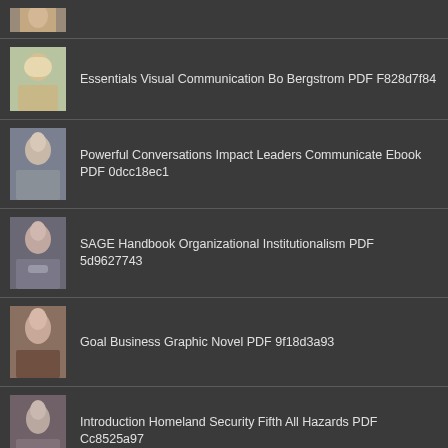[Figure (photo): Partial thumbnail of a person at top of page]
Essentials Visual Communication Bo Bergstrom PDF F828d7f84
Powerful Conversations Impact Leaders Communicate Ebook PDF 0dcc18ec1
SAGE Handbook Organizational Institutionalism PDF 5d9627743
Goal Business Graphic Novel PDF 9f18d3a93
Introduction Homeland Security Fifth All Hazards PDF Cc8525a97
[Figure (photo): Partial thumbnail of a person at bottom of page]